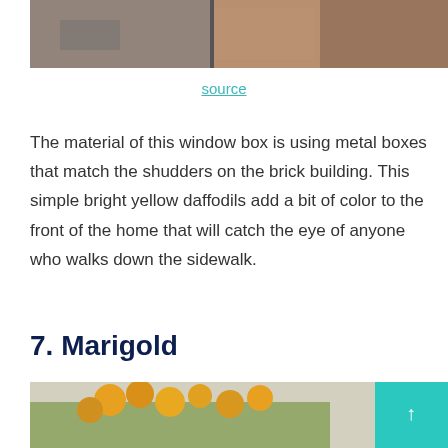[Figure (photo): Top portion of a brick building with metal window boxes, partially cropped at top of page.]
source
The material of this window box is using metal boxes that match the shudders on the brick building. This simple bright yellow daffodils add a bit of color to the front of the home that will catch the eye of anyone who walks down the sidewalk.
7. Marigold
[Figure (photo): Marigold flowers in a window box, orange/yellow blooms with green foliage against a building exterior. A teal scroll-to-top button is overlaid in the bottom right corner.]